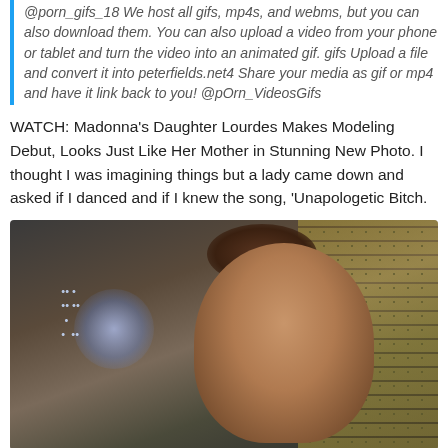@porn_gifs_18 We host all gifs, mp4s, and webms, but you can also download them. You can also upload a video from your phone or tablet and turn the video into an animated gif. gifs Upload a file and convert it into peterfields.net4 Share your media as gif or mp4 and have it link back to you! @pOrn_VideosGifs
WATCH: Madonna's Daughter Lourdes Makes Modeling Debut, Looks Just Like Her Mother in Stunning New Photo. I thought I was imagining things but a lady came down and asked if I danced and if I knew the song, 'Unapologetic Bitch.
[Figure (photo): Photo of a young woman with brown hair pulled back, eyes closed or looking down, in a dimly lit setting with a glowing light display in the background left and a yellow patterned wall/board on the right.]